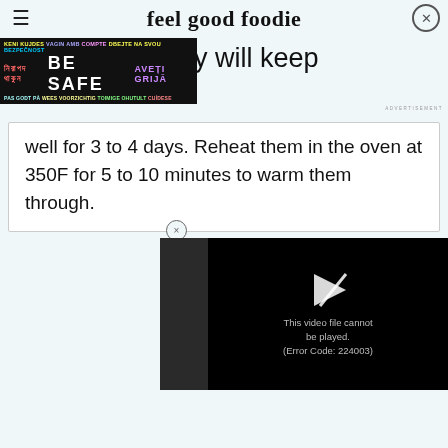feel good foodie
[Figure (screenshot): Safety advertisement banner with multilingual text: 'KENI KUJDES VAGIN AMB COMPTE DBEJTE NA SVOU BEZPEČNOST / নিরাপদ থাকুন BE SAFE AVEȚI GRIJĂ / PAS GODT PÅ WEES VOORZICHTIG TOIMIGE OHUTULT CUÍDESE']
will keep well for 3 to 4 days. Reheat them in the oven at 350F for 5 to 10 minutes to warm them through.
[Figure (screenshot): Video player showing error: 'This video file cannot be played. (Error Code: 224003)']